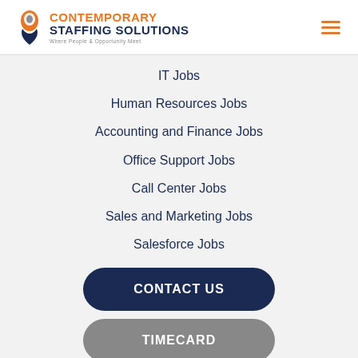[Figure (logo): Contemporary Staffing Solutions logo with orange and navy icon and tagline 'Where People & Opportunity Meet']
IT Jobs
Human Resources Jobs
Accounting and Finance Jobs
Office Support Jobs
Call Center Jobs
Sales and Marketing Jobs
Salesforce Jobs
CONTACT US
TIMECARD